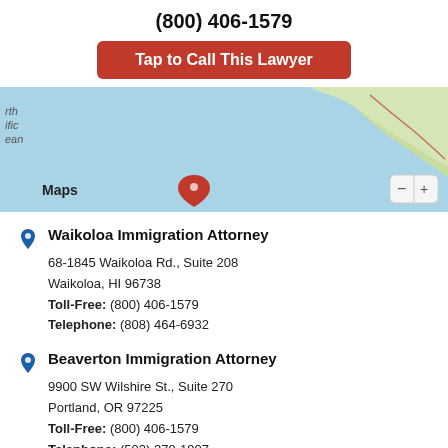(800) 406-1579
Tap to Call This Lawyer
[Figure (screenshot): Apple Maps screenshot showing Pacific Ocean region with a red map pin location marker and zoom controls]
Waikoloa Immigration Attorney
68-1845 Waikoloa Rd., Suite 208
Waikoloa, HI 96738
Toll-Free: (800) 406-1579
Telephone: (808) 464-6932
Beaverton Immigration Attorney
9900 SW Wilshire St., Suite 270
Portland, OR 97225
Toll-Free: (800) 406-1579
Telephone: (503) 379-1907